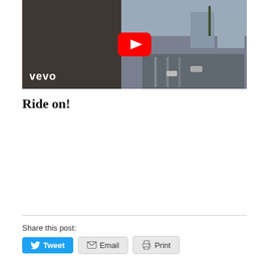[Figure (screenshot): YouTube video thumbnail showing a music video on Vevo — person with sunglasses on the left, a street scene with palm trees and cars on the right, Vevo logo in bottom left, YouTube play button overlay in center]
Ride on!
Share this post:
Tweet
Email
Print